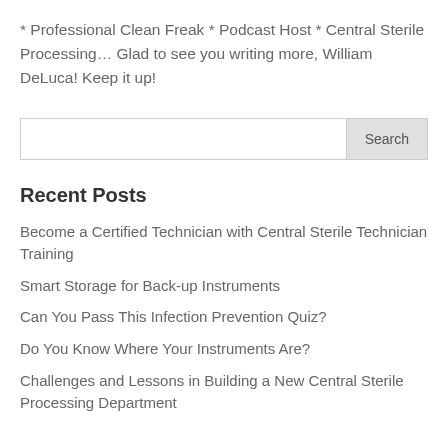* Professional Clean Freak * Podcast Host * Central Sterile Processing… Glad to see you writing more, William DeLuca! Keep it up!
Recent Posts
Become a Certified Technician with Central Sterile Technician Training
Smart Storage for Back-up Instruments
Can You Pass This Infection Prevention Quiz?
Do You Know Where Your Instruments Are?
Challenges and Lessons in Building a New Central Sterile Processing Department